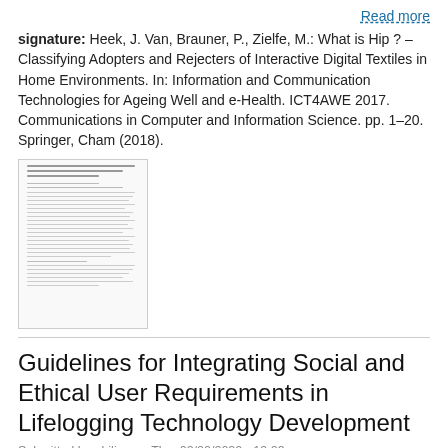Read more
signature: Heek, J. Van, Brauner, P., Zielfe, M.: What is Hip ? – Classifying Adopters and Rejecters of Interactive Digital Textiles in Home Environments. In: Information and Communication Technologies for Ageing Well and e-Health. ICT4AWE 2017. Communications in Computer and Information Science. pp. 1–20. Springer, Cham (2018).
[Figure (other): Thumbnail preview of a document page showing dense text content]
Guidelines for Integrating Social and Ethical User Requirements in Lifelogging Technology Development
Submitted by philipp on Thu, 08/20/2020 - 19:09
Read more